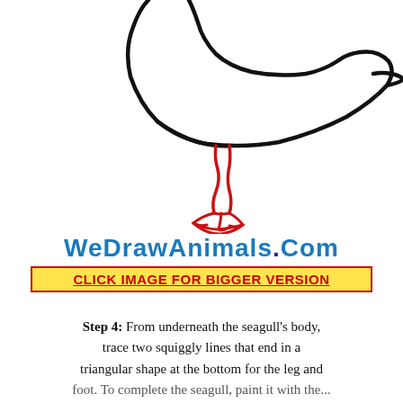[Figure (illustration): Step-by-step drawing tutorial showing the body outline of a seagull in black ink with a red leg and foot drawn below the body. The leg consists of two squiggly red lines ending in a triangular/webbed foot shape.]
WeDrawAnimals.Com
CLICK IMAGE FOR BIGGER VERSION
Step 4: From underneath the seagull's body, trace two squiggly lines that end in a triangular shape at the bottom for the leg and foot. To complete the seagull, paint it with the...